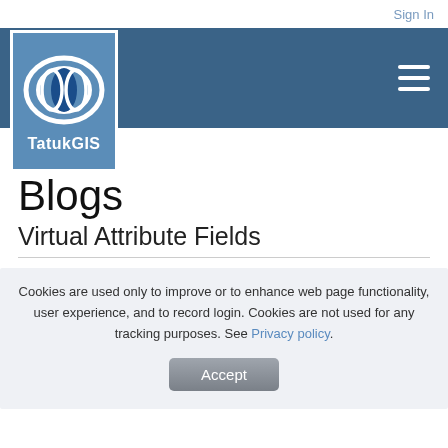Sign In
[Figure (logo): TatukGIS logo — white oval containing two concentric ovals with a blue leaf/teardrop shape in center, on a steel-blue background, with TatukGIS text below]
Blogs
Virtual Attribute Fields
Cookies are used only to improve or to enhance web page functionality, user experience, and to record login. Cookies are not used for any tracking purposes. See Privacy policy.
Accept